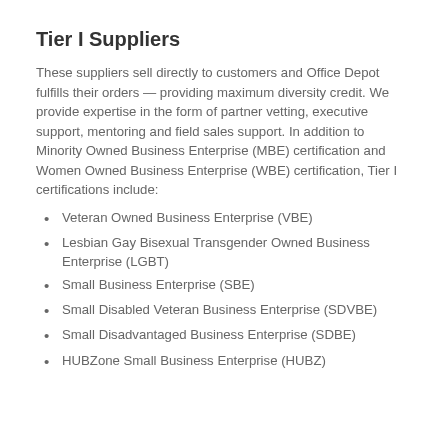Tier I Suppliers
These suppliers sell directly to customers and Office Depot fulfills their orders — providing maximum diversity credit. We provide expertise in the form of partner vetting, executive support, mentoring and field sales support. In addition to Minority Owned Business Enterprise (MBE) certification and Women Owned Business Enterprise (WBE) certification, Tier I certifications include:
Veteran Owned Business Enterprise (VBE)
Lesbian Gay Bisexual Transgender Owned Business Enterprise (LGBT)
Small Business Enterprise (SBE)
Small Disabled Veteran Business Enterprise (SDVBE)
Small Disadvantaged Business Enterprise (SDBE)
HUBZone Small Business Enterprise (HUBZ)